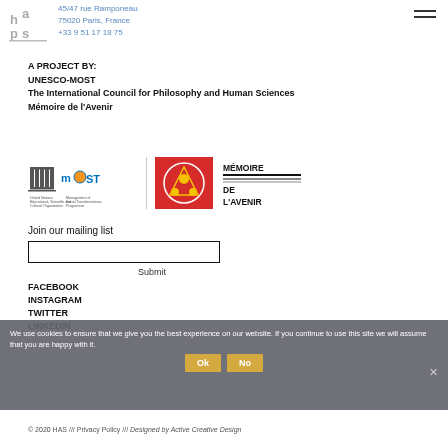[Figure (logo): HAS logo top left]
45/47 rue Ramponeau
75020 Paris, France
+33 9 51 17 18 75
A PROJECT BY:
UNESCO-MOST
The International Council for Philosophy and Human Sciences
Mémoire de l'Avenir
[Figure (logo): UNESCO-MOST logo and Mémoire de l'Avenir logo]
Join our mailing list
Submit
FACEBOOK
INSTAGRAM
TWITTER
LINKEDIN
We use cookies to ensure that we give you the best experience on our website. If you continue to use this site we will assume that you are happy with it.
Ok
No
© 2020 HAS /// Privacy Policy /// Designed by Active Creative Design